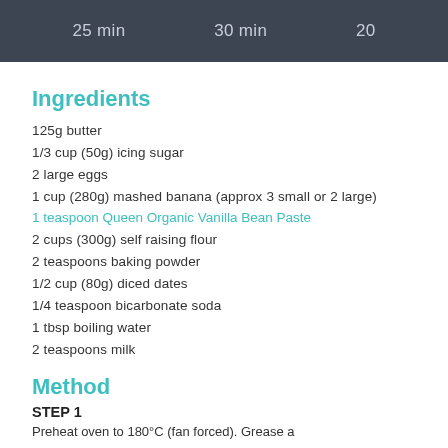25 min    30 min    20
Ingredients
125g butter
1/3 cup (50g) icing sugar
2 large eggs
1 cup (280g) mashed banana (approx 3 small or 2 large)
1 teaspoon Queen Organic Vanilla Bean Paste
2 cups (300g) self raising flour
2 teaspoons baking powder
1/2 cup (80g) diced dates
1/4 teaspoon bicarbonate soda
1 tbsp boiling water
2 teaspoons milk
Method
STEP 1
Preheat oven to 180°C (fan forced). Grease a...